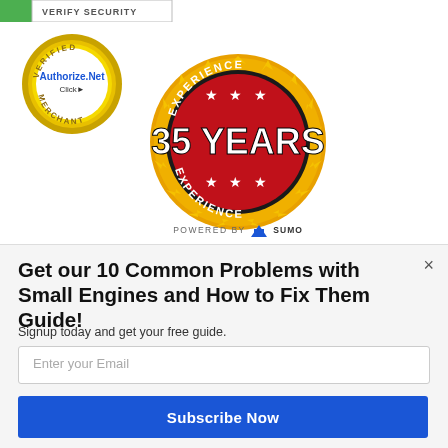[Figure (logo): Green and grey Verify Security bar at top]
[Figure (logo): Authorize.Net Verified Merchant badge — gold circular seal with blue Authorize.Net text]
[Figure (logo): 35 Years Experience badge — gold sunburst seal with red center and white stars, bold text '35 YEARS']
POWERED BY SUMO
Get our 10 Common Problems with Small Engines and How to Fix Them Guide!
Signup today and get your free guide.
Enter your Email
Subscribe Now